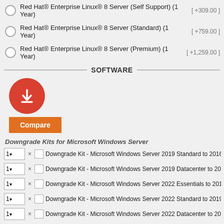Red Hat® Enterprise Linux® 8 Server (Self Support) (1 Year) [ +309.00 ]
Red Hat® Enterprise Linux® 8 Server (Standard) (1 Year) [ +759.00 ]
Red Hat® Enterprise Linux® 8 Server (Premium) (1 Year) [ +1,259.00 ]
SOFTWARE
[Figure (illustration): Red circular download icon with white downward arrow]
Compare
Downgrade Kits for Microsoft Windows Server
1 × [ ] Downgrade Kit - Microsoft Windows Server 2019 Standard to 2016
1 × [ ] Downgrade Kit - Microsoft Windows Server 2019 Datacenter to 201...
1 × [ ] Downgrade Kit - Microsoft Windows Server 2022 Essentials to 2019
1 × [ ] Downgrade Kit - Microsoft Windows Server 2022 Standard to 2019
1 × [ ] Downgrade Kit - Microsoft Windows Server 2022 Datacenter to 201...
Device Client Access Licenses for Windows Server 2022
1 × [ ] 1-Device Client Access License (CAL) for Microsoft Windows Server...
1 × [ ] 5-Device Client Access License (CAL) for Microsoft Windows Server...